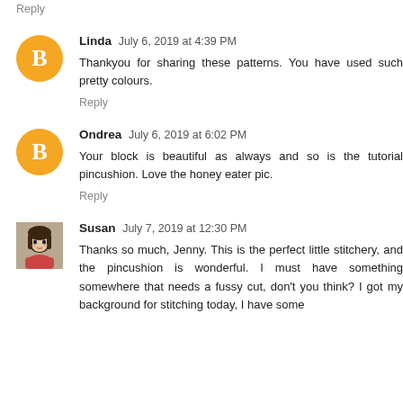Reply
Linda  July 6, 2019 at 4:39 PM
Thankyou for sharing these patterns. You have used such pretty colours.
Reply
Ondrea  July 6, 2019 at 6:02 PM
Your block is beautiful as always and so is the tutorial pincushion. Love the honey eater pic.
Reply
Susan  July 7, 2019 at 12:30 PM
Thanks so much, Jenny. This is the perfect little stitchery, and the pincushion is wonderful. I must have something somewhere that needs a fussy cut, don't you think? I got my background for stitching today, I have some